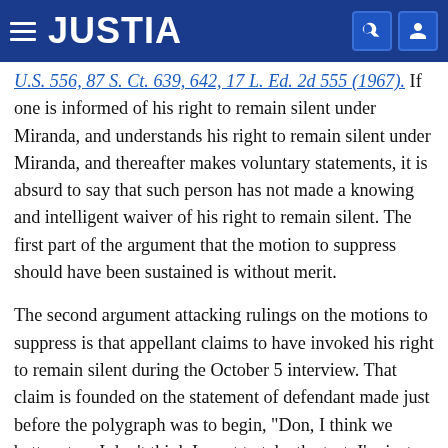JUSTIA
U.S. 556, 87 S. Ct. 639, 642, 17 L. Ed. 2d 555 (1967). If one is informed of his right to remain silent under Miranda, and understands his right to remain silent under Miranda, and thereafter makes voluntary statements, it is absurd to say that such person has not made a knowing and intelligent waiver of his right to remain silent. The first part of the argument that the motion to suppress should have been sustained is without merit.
The second argument attacking rulings on the motions to suppress is that appellant claims to have invoked his right to remain silent during the October 5 interview. That claim is founded on the statement of defendant made just before the polygraph was to begin, "Don, I think we better stop. I don't think I want to take the test. I'm just so scared." Plainly, the record reflects that this was not either directly or inferentially a request to stop the questioning. It was merely a statement that